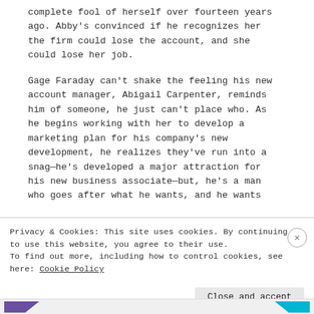complete fool of herself over fourteen years ago. Abby's convinced if he recognizes her the firm could lose the account, and she could lose her job.
Gage Faraday can't shake the feeling his new account manager, Abigail Carpenter, reminds him of someone, he just can't place who. As he begins working with her to develop a marketing plan for his company's new development, he realizes they've run into a snag—he's developed a major attraction for his new business associate—but, he's a man who goes after what he wants, and he wants
Privacy & Cookies: This site uses cookies. By continuing to use this website, you agree to their use. To find out more, including how to control cookies, see here: Cookie Policy